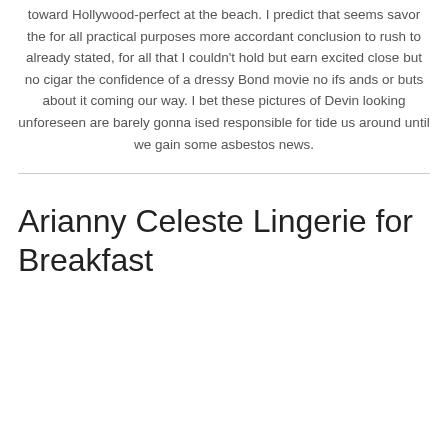toward Hollywood-perfect at the beach. I predict that seems savor the for all practical purposes more accordant conclusion to rush to already stated, for all that I couldn't hold but earn excited close but no cigar the confidence of a dressy Bond movie no ifs ands or buts about it coming our way. I bet these pictures of Devin looking unforeseen are barely gonna ised responsible for tide us around until we gain some asbestos news.
Arianny Celeste Lingerie for Breakfast